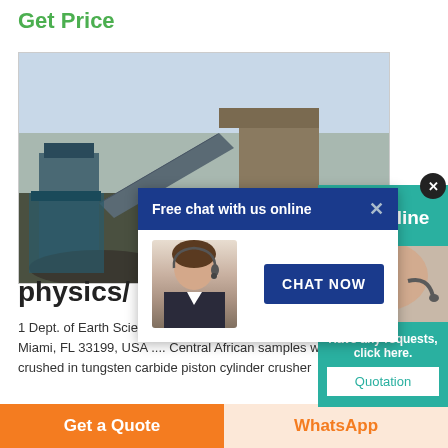Get Price
[Figure (photo): Industrial conveyor belt and crushing equipment at a mine or quarry site, showing large machinery and conveyor structure against a pale sky.]
[Figure (screenshot): Free chat with us online popup overlay showing a customer service agent (woman with headset) and a CHAT NOW button on blue background.]
[Figure (screenshot): 24/7 Online panel on teal background with a close X button, showing a person using a headset, with 'Have any requests, click here.' text and a Quotation button.]
physics/
1 Dept. of Earth Sciences, Florida International University, Miami, FL 33199, USA .... Central African samples were crushed in tungsten carbide piston cylinder crusher
Get a Quote
WhatsApp